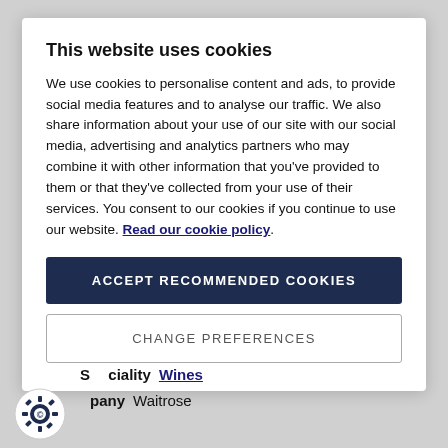This website uses cookies
We use cookies to personalise content and ads, to provide social media features and to analyse our traffic. We also share information about your use of our site with our social media, advertising and analytics partners who may combine it with other information that you've provided to them or that they've collected from your use of their services. You consent to our cookies if you continue to use our website. Read our cookie policy.
ACCEPT RECOMMENDED COOKIES
CHANGE PREFERENCES
Speciality Wines
Company Waitrose